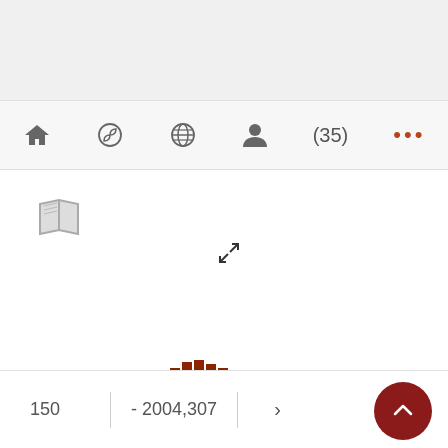[Figure (screenshot): Top gray navigation bar area]
[Figure (screenshot): Navigation bar with home icon, spiral icon, globe icon, person icon, count (35), and three orange dots menu]
[Figure (bar-chart): Publications timeline 1986-2022]
150  - 2004,307  >